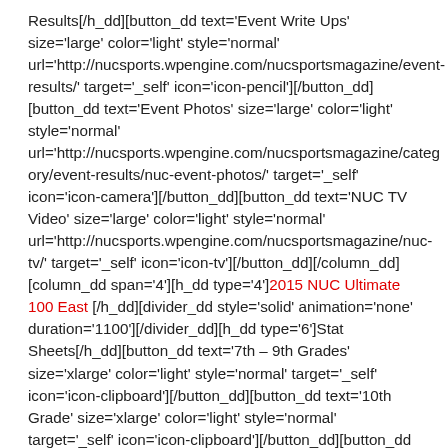Results[/h_dd][button_dd text='Event Write Ups' size='large' color='light' style='normal' url='http://nucsports.wpengine.com/nucsportsmagazine/event-results/' target='_self' icon='icon-pencil'][/button_dd][button_dd text='Event Photos' size='large' color='light' style='normal' url='http://nucsports.wpengine.com/nucsportsmagazine/category/event-results/nuc-event-photos/' target='_self' icon='icon-camera'][/button_dd][button_dd text='NUC TV Video' size='large' color='light' style='normal' url='http://nucsports.wpengine.com/nucsportsmagazine/nuc-tv/' target='_self' icon='icon-tv'][/button_dd][/column_dd][column_dd span='4'][h_dd type='4']2015 NUC Ultimate 100 East [/h_dd][divider_dd style='solid' animation='none' duration='1100'][/divider_dd][h_dd type='6']Stat Sheets[/h_dd][button_dd text='7th – 9th Grades' size='xlarge' color='light' style='normal' target='_self' icon='icon-clipboard'][/button_dd][button_dd text='10th Grade' size='xlarge' color='light' style='normal' target='_self' icon='icon-clipboard'][/button_dd][button_dd text='11th Grade' size='xlarge' color='light'